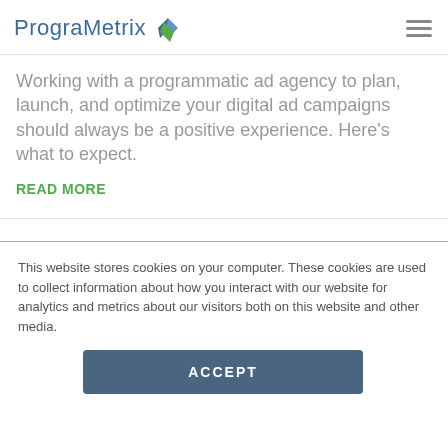ProgramMetrix
Working with a programmatic ad agency to plan, launch, and optimize your digital ad campaigns should always be a positive experience. Here's what to expect.
READ MORE
This website stores cookies on your computer. These cookies are used to collect information about how you interact with our website for analytics and metrics about our visitors both on this website and other media.
ACCEPT